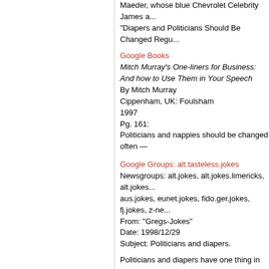Maeder, whose blue Chevrolet Celebrity James a... "Diapers and Politicians Should Be Changed Regu...
Google Books
Mitch Murray's One-liners for Business:
And how to Use Them in Your Speech
By Mitch Murray
Cippenham, UK: Foulsham
1997
Pg. 161:
Politicians and nappies should be changed often —
Google Groups: alt.tasteless.jokes
Newsgroups: alt.jokes, alt.jokes.limericks, alt.jokes... aus.jokes, eunet.jokes, fido.ger.jokes, fj.jokes, z-ne...
From: "Gregs-Jokes"
Date: 1998/12/29
Subject: Politicians and diapers.
Politicians and diapers have one thing in common. changed regularly and for the same reason.
Google Books
Net-wit.com:
A smorgasbord of e-mail and internet wit blended... the author's wild and wooly life.